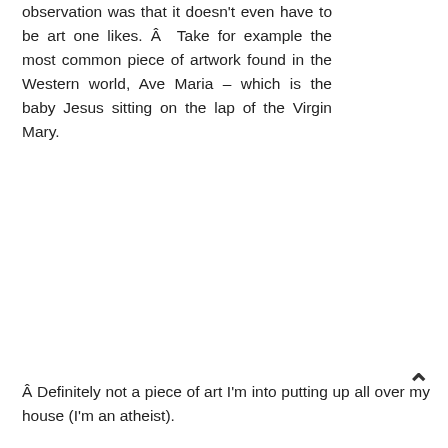observation was that it doesn't even have to be art one likes. Â Take for example the most common piece of artwork found in the Western world, Ave Maria – which is the baby Jesus sitting on the lap of the Virgin Mary.
Â Definitely not a piece of art I'm into putting up all over my house (I'm an atheist).